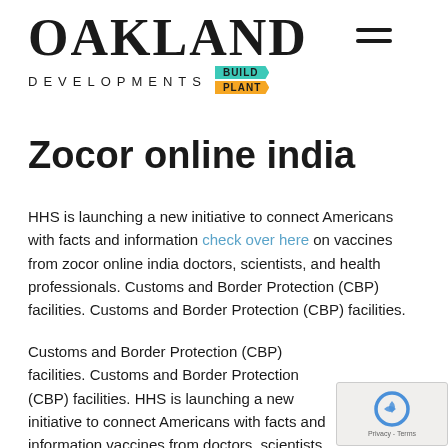[Figure (logo): Oakland Developments logo with OAKLAND in large serif font, DEVELOPMENTS in spaced sans-serif, and BUILD/PLANT colored badge banners]
Zocor online india
HHS is launching a new initiative to connect Americans with facts and information check over here on vaccines from zocor online india doctors, scientists, and health professionals. Customs and Border Protection (CBP) facilities. Customs and Border Protection (CBP) facilities.
Customs and Border Protection (CBP) facilities. Customs and Border Protection (CBP) facilities. HHS is launching a new initiative to connect Americans with facts and information vaccines from doctors, scientists, and health professionals.